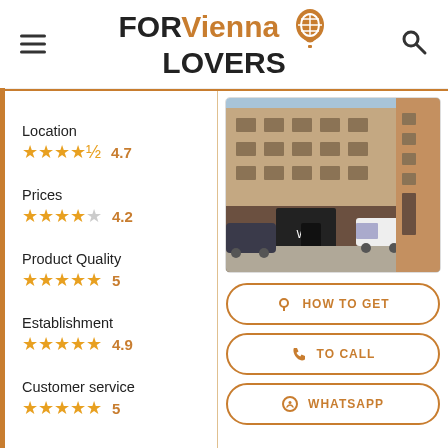FOR Vienna LOVERS
Location 4.7 stars
Prices 4.2 stars
Product Quality 5 stars
Establishment 4.9 stars
Customer service 5 stars
[Figure (photo): Street view photo of a European building facade with cars parked on the street]
HOW TO GET
TO CALL
WHATSAPP